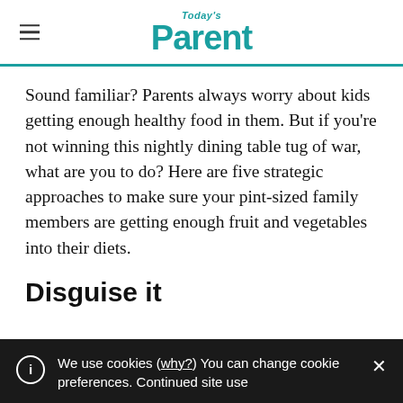Today's Parent
Sound familiar? Parents always worry about kids getting enough healthy food in them. But if you're not winning this nightly dining table tug of war, what are you to do? Here are five strategic approaches to make sure your pint-sized family members are getting enough fruit and vegetables into their diets.
Disguise it
We use cookies (why?) You can change cookie preferences. Continued site use